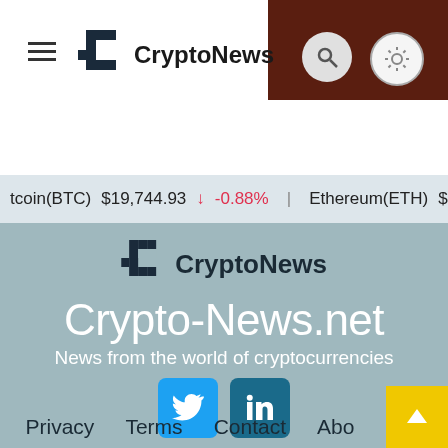CryptoNews — site header with hamburger menu, logo, search and dark mode buttons
tcoin(BTC) $19,744.93 ↓ -0.88%   Ethereum(ETH) $1,595.58 ↑
[Figure (logo): CryptoNews logo in footer — pixelated C icon with CryptoNews text]
Crypto-News.net
News from the world of cryptocurrencies
[Figure (infographic): Social media buttons: Twitter (bird icon) and LinkedIn (in icon)]
Privacy   Terms   Contact   Abo